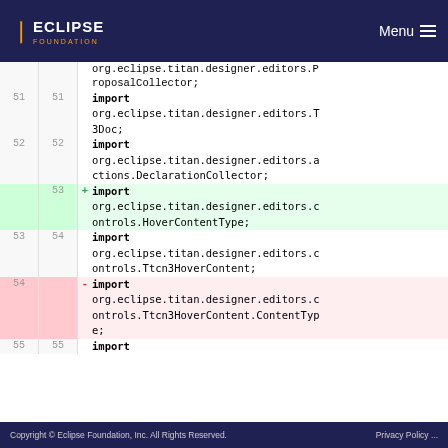ECLIPSE FOUNDATION  Menu
| old ln | new ln | change | code |
| --- | --- | --- | --- |
|  |  |  | org.eclipse.titan.designer.editors.ProposalCollector; |
| 51 | 51 |  | import org.eclipse.titan.designer.editors.T3Doc; |
| 52 | 52 |  | import org.eclipse.titan.designer.editors.actions.DeclarationCollector; |
|  | 53 | + | import org.eclipse.titan.designer.editors.controls.HoverContentType; |
| 53 | 54 |  | import org.eclipse.titan.designer.editors.controls.Ttcn3HoverContent; |
| 54 |  | - | import org.eclipse.titan.designer.editors.controls.Ttcn3HoverContent.ContentType; |
| 55 | 55 |  | import |
Copyright © Eclipse Foundation, Inc. All Rights Reserved.    Privacy Policy ...